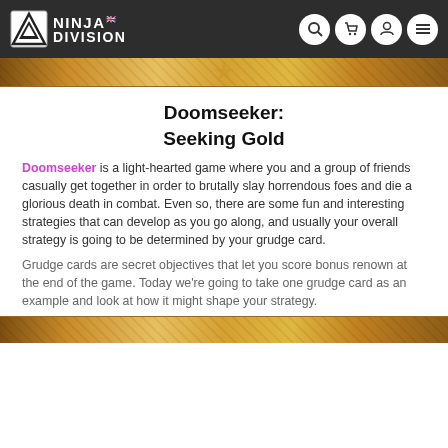NINJA DIVISION
[Figure (illustration): Decorative banner image with gold/bronze ornate border pattern at top of content]
Doomseeker:
Seeking Gold
Doomseeker is a light-hearted game where you and a group of friends casually get together in order to brutally slay horrendous foes and die a glorious death in combat. Even so, there are some fun and interesting strategies that can develop as you go along, and usually your overall strategy is going to be determined by your grudge card.
Grudge cards are secret objectives that let you score bonus renown at the end of the game. Today we're going to take one grudge card as an example and look at how it might shape your strategy.
[Figure (illustration): Decorative banner image with gold/bronze ornate border pattern at bottom of page]